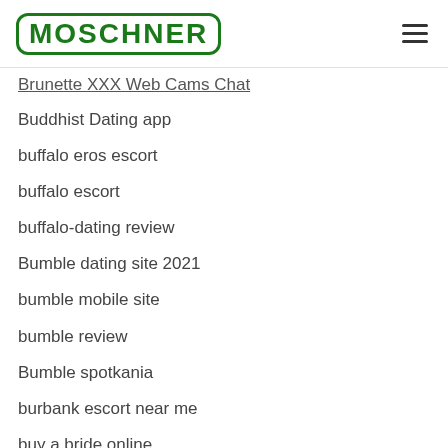MOSCHNER
Brunette XXX Web Cams Chat
Buddhist Dating app
buffalo eros escort
buffalo escort
buffalo-dating review
Bumble dating site 2021
bumble mobile site
bumble review
Bumble spotkania
burbank escort near me
buy a bride online
buy a wife